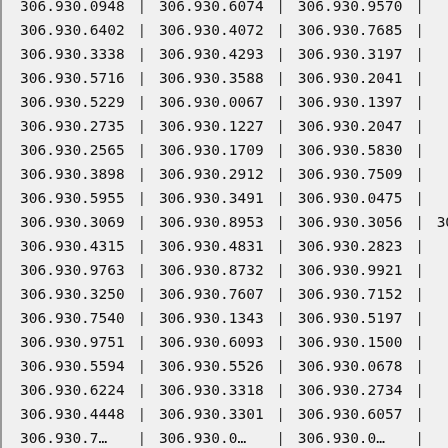| 306.930.0948 | 306.930.6074 | 306.930.9570 |  |
| 306.930.6402 | 306.930.4072 | 306.930.7685 |  |
| 306.930.3338 | 306.930.4293 | 306.930.3197 |  |
| 306.930.5716 | 306.930.3588 | 306.930.2041 |  |
| 306.930.5229 | 306.930.0067 | 306.930.1397 |  |
| 306.930.2735 | 306.930.1227 | 306.930.2047 |  |
| 306.930.2565 | 306.930.1709 | 306.930.5830 |  |
| 306.930.3898 | 306.930.2912 | 306.930.7509 |  |
| 306.930.5955 | 306.930.3491 | 306.930.0475 |  |
| 306.930.3069 | 306.930.8953 | 306.930.3056 | 306.930.6… |
| 306.930.4315 | 306.930.4831 | 306.930.2823 |  |
| 306.930.9763 | 306.930.8732 | 306.930.9921 |  |
| 306.930.3250 | 306.930.7607 | 306.930.7152 |  |
| 306.930.7540 | 306.930.1343 | 306.930.5197 |  |
| 306.930.9751 | 306.930.6093 | 306.930.1500 |  |
| 306.930.5594 | 306.930.5526 | 306.930.0678 |  |
| 306.930.6224 | 306.930.3318 | 306.930.2734 |  |
| 306.930.4448 | 306.930.3301 | 306.930.6057 |  |
| 306.930.7… | 306.930.0… | 306.930.0… |  |